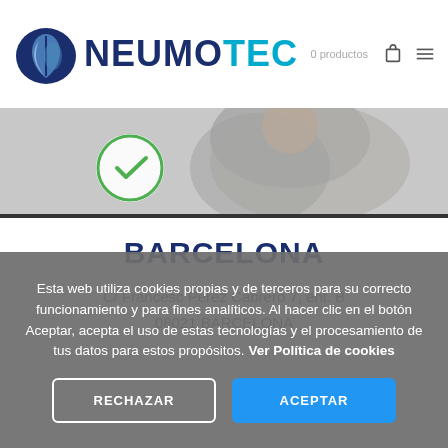NEUMOTEC — 0 productos
[Figure (photo): Person in the background with a green checkmark icon overlay, hero image section]
BARCELONA
C/ Francesc Perez Cabrero 7, ent. B
08021 BARCELONA
Esta web utiliza cookies propias y de terceros para su correcto funcionamiento y para fines analíticos. Al hacer clic en el botón Aceptar, acepta el uso de estas tecnologías y el procesamiento de tus datos para estos propósitos. Ver Política de cookies